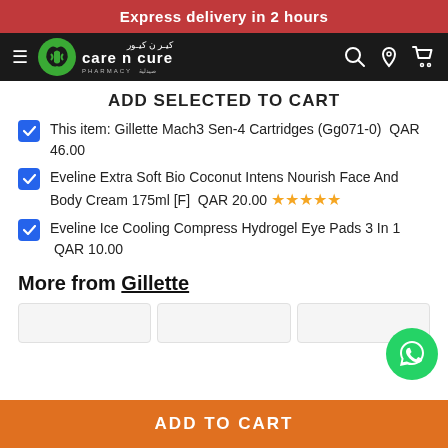Express delivery in 2 hours
[Figure (logo): Care n Cure Pharmacy logo with navigation bar on dark background]
ADD SELECTED TO CART
This item: Gillette Mach3 Sen-4 Cartridges (Gg071-0)  QAR 46.00
Eveline Extra Soft Bio Coconut Intens Nourish Face And Body Cream 175ml [F]  QAR 20.00 ★★★★★
Eveline Ice Cooling Compress Hydrogel Eye Pads 3 In 1  QAR 10.00
More from Gillette
[Figure (screenshot): Product cards row for Gillette products]
ADD TO CART